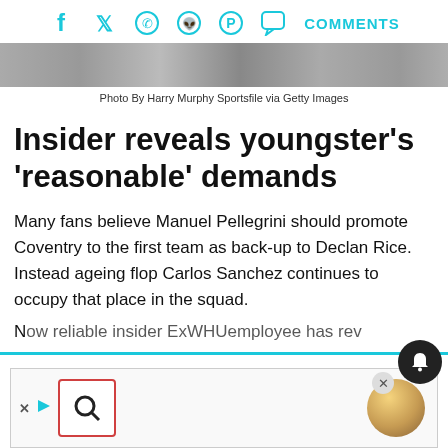Social share icons: Facebook, Twitter, WhatsApp, Reddit, Pinterest, Comments
[Figure (photo): Partial photo strip at top, grayscale]
Photo By Harry Murphy Sportsfile via Getty Images
Insider reveals youngster's 'reasonable' demands
Many fans believe Manuel Pellegrini should promote Coventry to the first team as back-up to Declan Rice. Instead ageing flop Carlos Sanchez continues to occupy that place in the squad.
Now reliable insider ExWHUemployee has rev…
[Figure (screenshot): Advertisement bar at bottom with search icon, X button, play button and watch image]